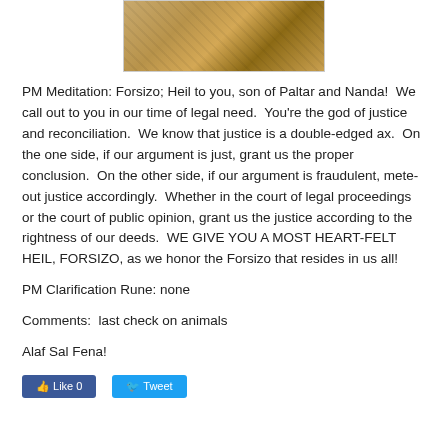[Figure (illustration): Illustrated image showing figures, partially cropped at top of page]
PM Meditation: Forsizo; Heil to you, son of Paltar and Nanda!  We call out to you in our time of legal need.  You're the god of justice and reconciliation.  We know that justice is a double-edged ax.  On the one side, if our argument is just, grant us the proper conclusion.  On the other side, if our argument is fraudulent, mete-out justice accordingly.  Whether in the court of legal proceedings or the court of public opinion, grant us the justice according to the rightness of our deeds.  WE GIVE YOU A MOST HEART-FELT HEIL, FORSIZO, as we honor the Forsizo that resides in us all!
PM Clarification Rune: none
Comments:  last check on animals
Alaf Sal Fena!